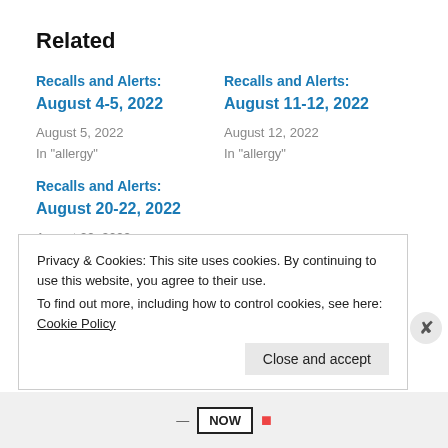Related
Recalls and Alerts:
August 4-5, 2022
August 5, 2022
In "allergy"
Recalls and Alerts:
August 11-12, 2022
August 12, 2022
In "allergy"
Recalls and Alerts:
August 20-22, 2022
August 22, 2022
In "allergy"
Privacy & Cookies: This site uses cookies. By continuing to use this website, you agree to their use.
To find out more, including how to control cookies, see here: Cookie Policy
NOW